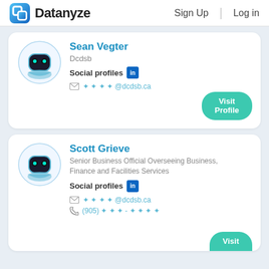Datanyze  Sign Up  Log in
Sean Vegter
Dcdsb
Social profiles
****@dcdsb.ca
Scott Grieve
Senior Business Official Overseeing Business, Finance and Facilities Services
Social profiles
****@dcdsb.ca
(905) ***-****